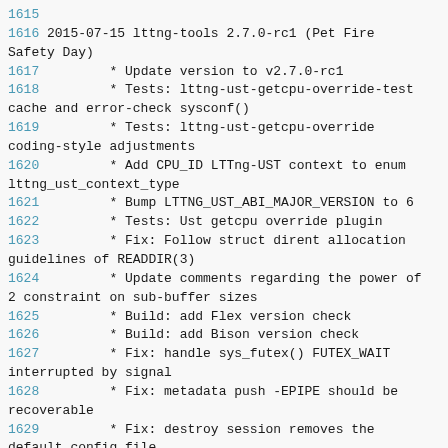1615
1616 2015-07-15 lttng-tools 2.7.0-rc1 (Pet Fire Safety Day)
1617         * Update version to v2.7.0-rc1
1618         * Tests: lttng-ust-getcpu-override-test cache and error-check sysconf()
1619         * Tests: lttng-ust-getcpu-override coding-style adjustments
1620         * Add CPU_ID LTTng-UST context to enum lttng_ust_context_type
1621         * Bump LTTNG_UST_ABI_MAJOR_VERSION to 6
1622         * Tests: Ust getcpu override plugin
1623         * Fix: Follow struct dirent allocation guidelines of READDIR(3)
1624         * Update comments regarding the power of 2 constraint on sub-buffer sizes
1625         * Build: add Flex version check
1626         * Build: add Bison version check
1627         * Fix: handle sys_futex() FUTEX_WAIT interrupted by signal
1628         * Fix: metadata push -EPIPE should be recoverable
1629         * Fix: destroy session removes the default config file
1630         * Build: bump autoconf version